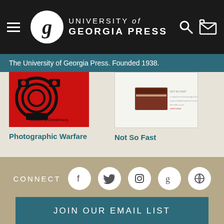UNIVERSITY of GEORGIA PRESS
The University of Georgia Press. Founded 1938.
[Figure (photo): Book cover: Photographic Warfare (red cover with concentric circles and camera icons)]
Photographic Warfare
[Figure (photo): Book cover: Not So Fast (white cover with book/object on surface)]
Not So Fast
CONNECT
JOIN OUR EMAIL LIST